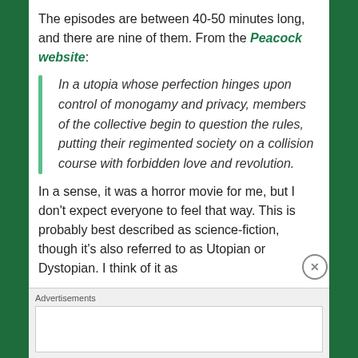The episodes are between 40-50 minutes long, and there are nine of them. From the Peacock website:
In a utopia whose perfection hinges upon control of monogamy and privacy, members of the collective begin to question the rules, putting their regimented society on a collision course with forbidden love and revolution.
In a sense, it was a horror movie for me, but I don't expect everyone to feel that way. This is probably best described as science-fiction, though it's also referred to as Utopian or Dystopian. I think of it as
Advertisements